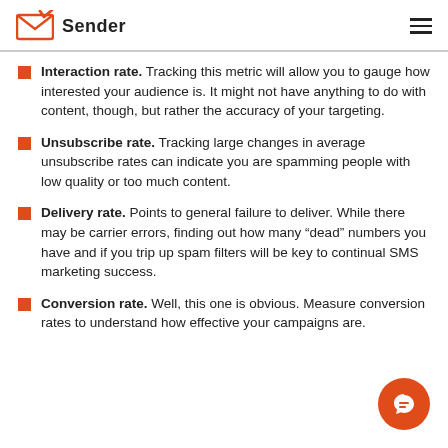Sender
Interaction rate. Tracking this metric will allow you to gauge how interested your audience is. It might not have anything to do with content, though, but rather the accuracy of your targeting.
Unsubscribe rate. Tracking large changes in average unsubscribe rates can indicate you are spamming people with low quality or too much content.
Delivery rate. Points to general failure to deliver. While there may be carrier errors, finding out how many “dead” numbers you have and if you trip up spam filters will be key to continual SMS marketing success.
Conversion rate. Well, this one is obvious. Measure conversion rates to understand how effective your campaigns are.